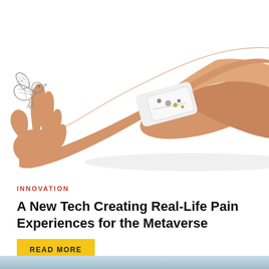[Figure (photo): A human arm and hand extended, wearing a white wrist device/wearable tech band with buttons and sensors on it. A small decorative wire-frame bird illustration sits on the fingertip. White background.]
INNOVATION
A New Tech Creating Real-Life Pain Experiences for the Metaverse
READ MORE
[Figure (photo): Bottom strip showing a partial image of a sky/horizon scene, light blue tones.]